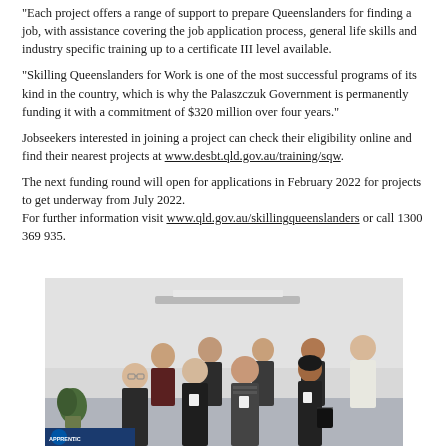“Each project offers a range of support to prepare Queenslanders for finding a job, with assistance covering the job application process, general life skills and industry specific training up to a certificate III level available.
“Skilling Queenslanders for Work is one of the most successful programs of its kind in the country, which is why the Palaszczuk Government is permanently funding it with a commitment of $320 million over four years.”
Jobseekers interested in joining a project can check their eligibility online and find their nearest projects at www.desbt.qld.gov.au/training/sqw.
The next funding round will open for applications in February 2022 for projects to get underway from July 2022.
For further information visit www.qld.gov.au/skillingqueenslanders or call 1300 369 935.
[Figure (photo): Group photo of seven young people (six women and one man) standing together in front of a white wall with a fluorescent light fixture. They appear to be at a formal or professional event, with some wearing name badges. A plant is visible on the left side. A banner with 'APPRENTIC...' text is partially visible at the bottom left.]